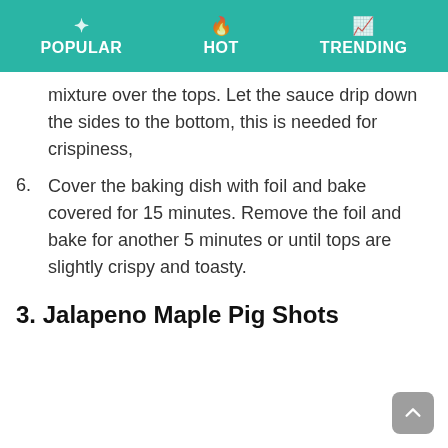POPULAR   HOT   TRENDING
mixture over the tops. Let the sauce drip down the sides to the bottom, this is needed for crispiness,
6. Cover the baking dish with foil and bake covered for 15 minutes. Remove the foil and bake for another 5 minutes or until tops are slightly crispy and toasty.
3. Jalapeno Maple Pig Shots